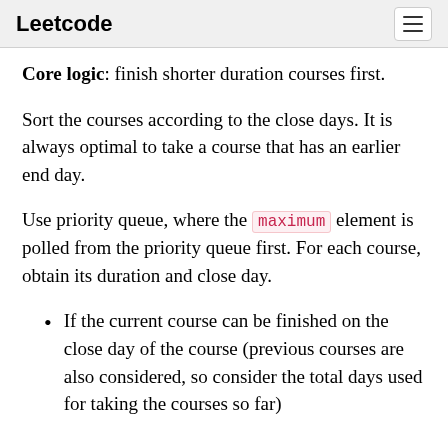Leetcode
Core logic: finish shorter duration courses first.
Sort the courses according to the close days. It is always optimal to take a course that has an earlier end day.
Use priority queue, where the maximum element is polled from the priority queue first. For each course, obtain its duration and close day.
If the current course can be finished on the close day of the course (previous courses are also considered, so consider the total days used for taking the courses so far)